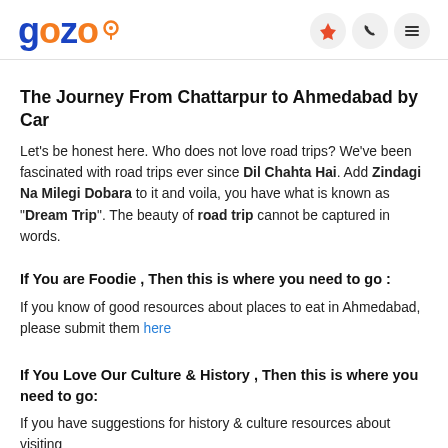gozo
The Journey From Chattarpur to Ahmedabad by Car
Let's be honest here. Who does not love road trips? We've been fascinated with road trips ever since Dil Chahta Hai. Add Zindagi Na Milegi Dobara to it and voila, you have what is known as "Dream Trip". The beauty of road trip cannot be captured in words.
If You are Foodie , Then this is where you need to go :
If you know of good resources about places to eat in Ahmedabad, please submit them here
If You Love Our Culture & History , Then this is where you need to go:
If you have suggestions for history & culture resources about visiting